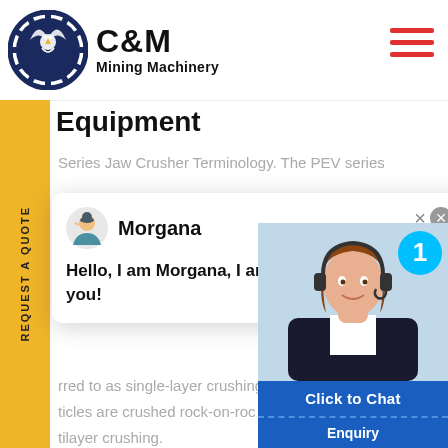[Figure (logo): C&M Mining Machinery logo with eagle/gear icon and bold text]
Equipment
Series Jaw Crusher Terminology. The PEV series
[Figure (screenshot): Chat popup with avatar of Morgana, close buttons, and message: Hello, I am Morgana, I am very glad to talk with you!]
rred to as single-layer crushing
ticles are crushed rock-on-roc
tilayer crushing.
Prev Page:Pe Mining Machineore G
Next Page:Krups Espresso Machine
Related articles
[Figure (photo): Customer service representative (woman with headset) with chat widget showing Click to Chat button and Enquiry section, and notification badge showing 1]
REQUEST A QUOTE